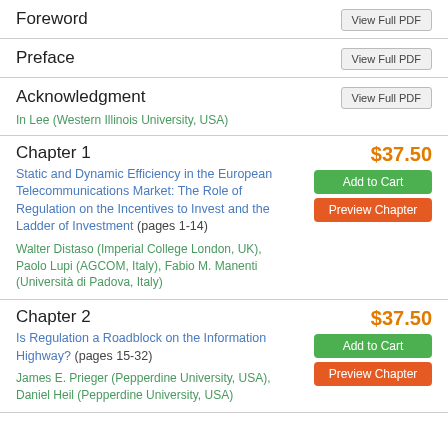Foreword
Preface
Acknowledgment
In Lee (Western Illinois University, USA)
Chapter 1
Static and Dynamic Efficiency in the European Telecommunications Market: The Role of Regulation on the Incentives to Invest and the Ladder of Investment (pages 1-14)
Walter Distaso (Imperial College London, UK), Paolo Lupi (AGCOM, Italy), Fabio M. Manenti (Università di Padova, Italy)
Chapter 2
Is Regulation a Roadblock on the Information Highway? (pages 15-32)
James E. Prieger (Pepperdine University, USA), Daniel Heil (Pepperdine University, USA)